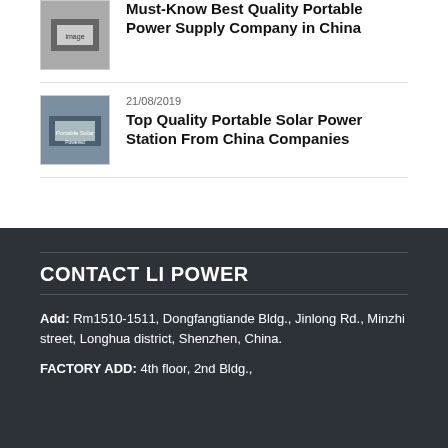[Figure (photo): Thumbnail image of portable power supply company in China article]
Must-Know Best Quality Portable Power Supply Company in China
[Figure (photo): Thumbnail image of portable solar power station article]
21/08/2019
Top Quality Portable Solar Power Station From China Companies
CONTACT LI POWER
Add: Rm1510-1511, Dongfangtiande Bldg., Jinlong Rd., Minzhi street, Longhua district, Shenzhen, China.
FACTORY ADD: 4th floor, 2nd Bldg.,